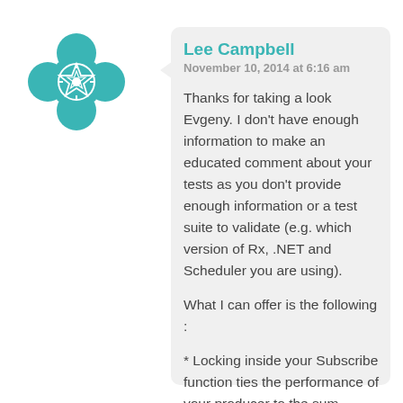[Figure (illustration): Teal/turquoise decorative circular logo/avatar with geometric flower pattern]
Lee Campbell
November 10, 2014 at 6:16 am
Thanks for taking a look Evgeny. I don't have enough information to make an educated comment about your tests as you don't provide enough information or a test suite to validate (e.g. which version of Rx, .NET and Scheduler you are using).
What I can offer is the following :
* Locking inside your Subscribe function ties the performance of your producer to the sum-